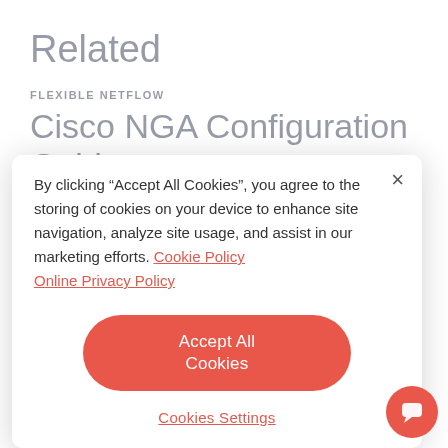Related
FLEXIBLE NETFLOW
Cisco NGA Configuration Guide
09.10.14 – Austin Brooks
[Figure (screenshot): Cookie consent dialog overlay with close button (×), cookie policy text with links to 'Cookie Policy' and 'Online Privacy Policy', an 'Accept All Cookies' red button, and a 'Cookies Settings' underlined link. A red circular chat bubble icon appears in the bottom-right corner.]